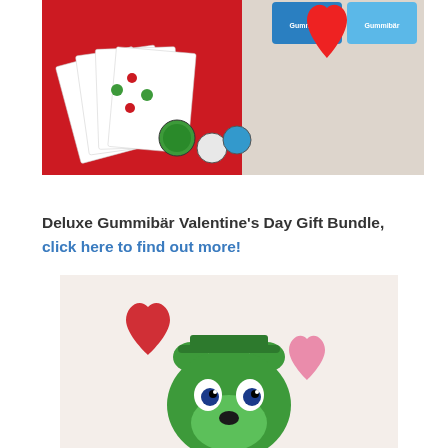[Figure (photo): Gummibär Valentine's Day gift bundle product photo showing sticker sheets with green bear characters on red background, circular pin buttons, and a large red heart-shaped box lid on white surface, with Gummibär branded packaging visible at top.]
Deluxe Gummibär Valentine's Day Gift Bundle, click here to find out more!
[Figure (photo): Gummibär green bear plush toy or figure shown from above on white background, with red and pink heart shapes floating around it.]